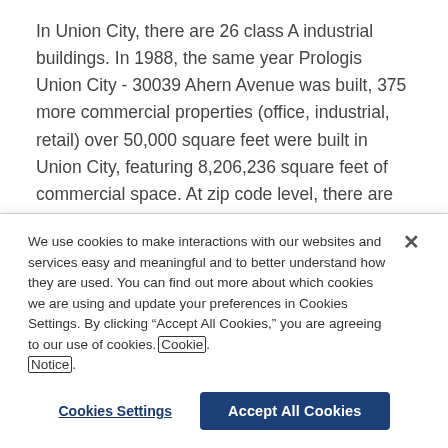In Union City, there are 26 class A industrial buildings. In 1988, the same year Prologis Union City - 30039 Ahern Avenue was built, 375 more commercial properties (office, industrial, retail) over 50,000 square feet were built in Union City, featuring 8,206,236 square feet of commercial space. At zip code level, there are 112 commercial properties, of which 93 are industrial buildings over 50,000 square feet.
We use cookies to make interactions with our websites and services easy and meaningful and to better understand how they are used. You can find out more about which cookies we are using and update your preferences in Cookies Settings. By clicking “Accept All Cookies,” you are agreeing to our use of cookies. Cookie Notice.
Cookies Settings
Accept All Cookies